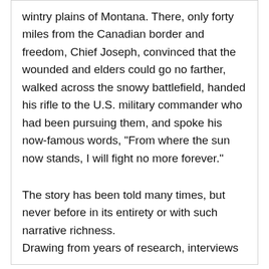wintry plains of Montana. There, only forty miles from the Canadian border and freedom, Chief Joseph, convinced that the wounded and elders could go no farther, walked across the snowy battlefield, handed his rifle to the U.S. military commander who had been pursuing them, and spoke his now-famous words, "From where the sun now stands, I will fight no more forever."
The story has been told many times, but never before in its entirety or with such narrative richness. Drawing from years of research, interviews and...
The Inaugural Santa Fe Literary Festival was a huge success